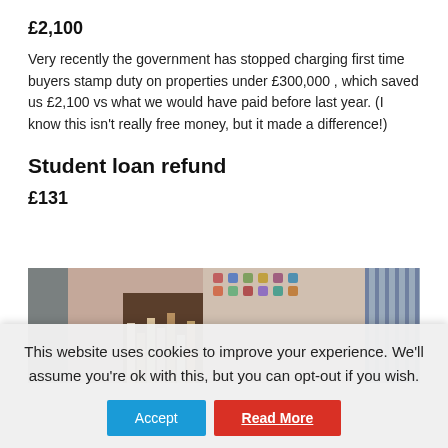£2,100
Very recently the government has stopped charging first time buyers stamp duty on properties under £300,000 , which saved us £2,100 vs what we would have paid before last year. (I know this isn't really free money, but it made a difference!)
Student loan refund
£131
[Figure (photo): Interior room photo showing a bookshelf with books and a wall covered with stickers/posters, curtains visible on the right side.]
This website uses cookies to improve your experience. We'll assume you're ok with this, but you can opt-out if you wish.